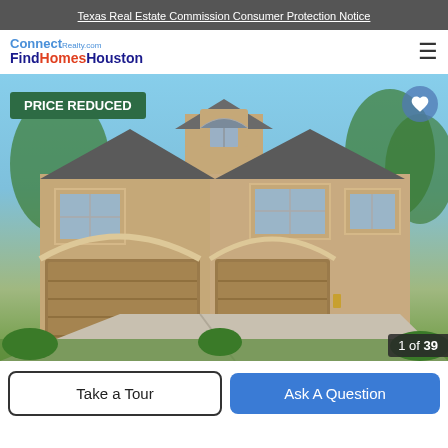Texas Real Estate Commission Consumer Protection Notice
[Figure (logo): Connect Realty.com logo with FindHomesHouston text]
[Figure (photo): Exterior photo of a two-story tan/beige stucco house with three-car garage, arched entries, and dormer window, surrounded by trees. PRICE REDUCED badge in upper left, heart/favorite icon in upper right.]
PRICE REDUCED
1 of 39
Take a Tour
Ask A Question